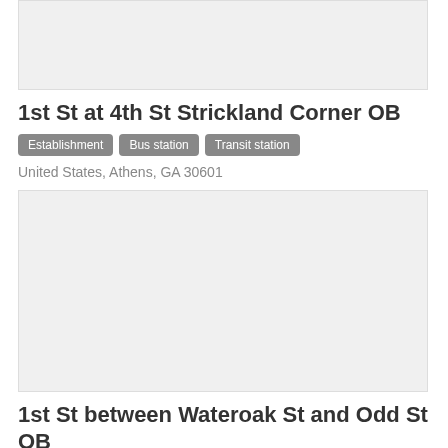[Figure (photo): Image placeholder for 1st St at 4th St Strickland Corner OB location]
1st St at 4th St Strickland Corner OB
Establishment  Bus station  Transit station
United States, Athens, GA 30601
[Figure (photo): Image placeholder for 1st St between Wateroak St and Odd St OB location]
1st St between Wateroak St and Odd St OB
Establishment  Bus station  Transit station